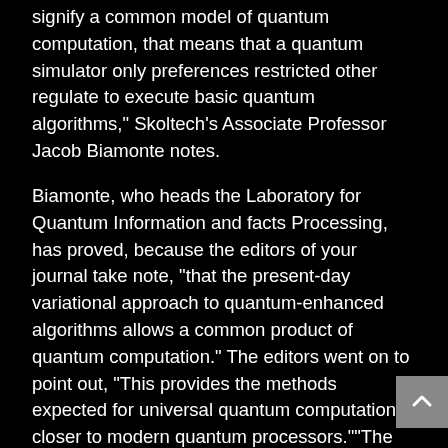signify a common model of quantum computation, that means that a quantum simulator only preferences restricted other regulate to execute basic quantum algorithms," Skoltech's Associate Professor Jacob Biamonte notes.
Biamonte, who heads the Laboratory for Quantum Information and facts Processing, has proved, because the editors of your journal take note, "that the present-day variational approach to quantum-enhanced algorithms allows a common product of quantum computation." The editors went on to point out, "This provides the methods expected for universal quantum computation closer to modern quantum processors.""The research bridges the gap https://www.hupd.harvard.edu/file/930496 between a programmable quantum simulator plus a common quantum home pc.